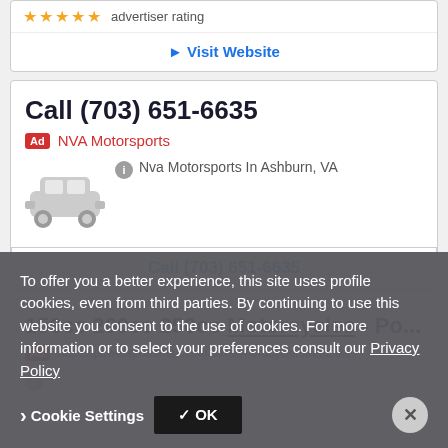[Figure (screenshot): Partial ad card showing star rating (advertiser rating) and Visit Website link]
advertiser rating
► Visit Website
Call (703) 651-6635
Ad NVA Motorsports
[Figure (illustration): Gray car icon placeholder]
Nva Motorsports In Ashburn, VA
Call (703) 651-6635
150cc 200cc 250cc Motorcycles - Po...
Ad https://powersportsmax.com/streetmorocycle/streetbike
To offer you a better experience, this site uses profile cookies, even from third parties. By continuing to use this website you consent to the use of cookies. For more information or to select your preferences consult our Privacy Policy
› Cookie Settings
✓ OK